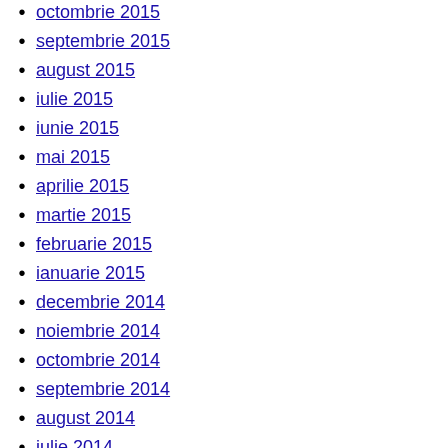octombrie 2015
septembrie 2015
august 2015
iulie 2015
iunie 2015
mai 2015
aprilie 2015
martie 2015
februarie 2015
ianuarie 2015
decembrie 2014
noiembrie 2014
octombrie 2014
septembrie 2014
august 2014
iulie 2014
iunie 2014
mai 2014
aprilie 2014
martie 2014
februarie 2014
ianuarie 2014
decembrie 2013
noiembrie 2013
octombrie 2013
septembrie 2013